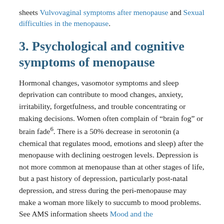sheets Vulvovaginal symptoms after menopause and Sexual difficulties in the menopause.
3. Psychological and cognitive symptoms of menopause
Hormonal changes, vasomotor symptoms and sleep deprivation can contribute to mood changes, anxiety, irritability, forgetfulness, and trouble concentrating or making decisions. Women often complain of “brain fog” or brain fade⁶. There is a 50% decrease in serotonin (a chemical that regulates mood, emotions and sleep) after the menopause with declining oestrogen levels. Depression is not more common at menopause than at other stages of life, but a past history of depression, particularly post-natal depression, and stress during the peri-menopause may make a woman more likely to succumb to mood problems. See AMS information sheets Mood and the